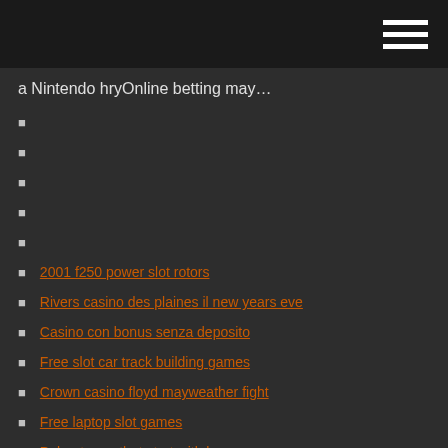[navigation bar with hamburger menu]
a Nintendo hryOnline betting may…
2001 f250 power slot rotors
Rivers casino des plaines il new years eve
Casino con bonus senza deposito
Free slot car track building games
Crown casino floyd mayweather fight
Free laptop slot games
Poker terms that start with b
Gambling at online casinos